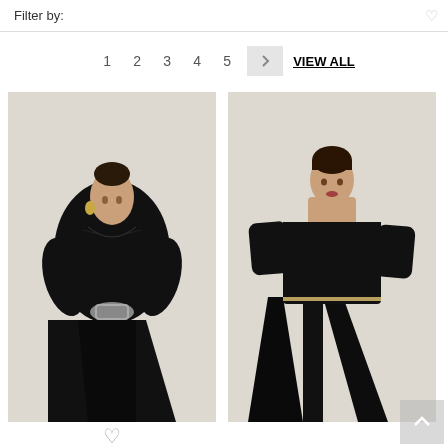Filter by:
1  2  3  4  5  >  VIEW ALL
[Figure (photo): Female model wearing a black draped top with a large decorative buckle belt and black wide-leg trousers]
[Figure (photo): Female model wearing a black bateau-neck 3/4 sleeve top with a chain belt and black wide-leg trousers]